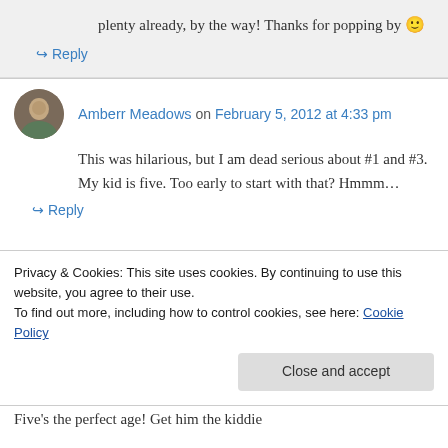plenty already, by the way! Thanks for popping by 🙂
↪ Reply
Amberr Meadows on February 5, 2012 at 4:33 pm
This was hilarious, but I am dead serious about #1 and #3. My kid is five. Too early to start with that? Hmmm…
↪ Reply
Privacy & Cookies: This site uses cookies. By continuing to use this website, you agree to their use. To find out more, including how to control cookies, see here: Cookie Policy
Close and accept
Five's the perfect age! Get him the kiddie